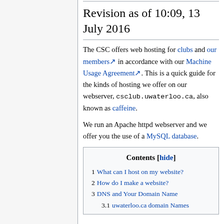Revision as of 10:09, 13 July 2016
The CSC offers web hosting for clubs and our members in accordance with our Machine Usage Agreement. This is a quick guide for the kinds of hosting we offer on our webserver, csclub.uwaterloo.ca, also known as caffeine.
We run an Apache httpd webserver and we offer you the use of a MySQL database.
| Contents [hide] |
| --- |
| 1 What can I host on my website? |
| 2 How do I make a website? |
| 3 DNS and Your Domain Name |
| 3.1 uwaterloo.ca domain Names |